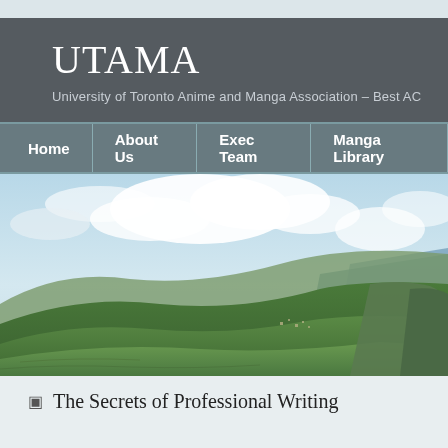UTAMA
University of Toronto Anime and Manga Association – Best AC
Home | About Us | Exec Team | Manga Library
[Figure (photo): Landscape photograph showing green hills, mountains, coastal cliffs, a small town, and a bright sky with clouds]
The Secrets of Professional Writing